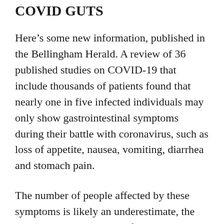COVID GUTS
Here’s some new information, published in the Bellingham Herald. A review of 36 published studies on COVID-19 that include thousands of patients found that nearly one in five infected individuals may only show gastrointestinal symptoms during their battle with coronavirus, such as loss of appetite, nausea, vomiting, diarrhea and stomach pain.
The number of people affected by these symptoms is likely an underestimate, the researchers say, because of under-reporting early in the pandemic before doctors knew what to look for.